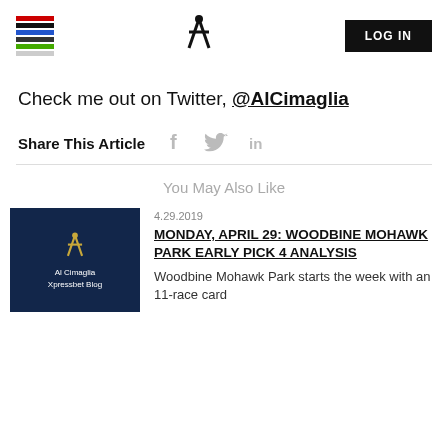Xpressbet navigation header with hamburger menu, site logo, and LOG IN button
Check me out on Twitter, @AlCimaglia
Share This Article
You May Also Like
[Figure (photo): Thumbnail image with dark blue background showing Xpressbet X logo in gold, and text 'Al Cimaglia Xpressbet Blog']
4.29.2019
MONDAY, APRIL 29: WOODBINE MOHAWK PARK EARLY PICK 4 ANALYSIS
Woodbine Mohawk Park starts the week with an 11-race card